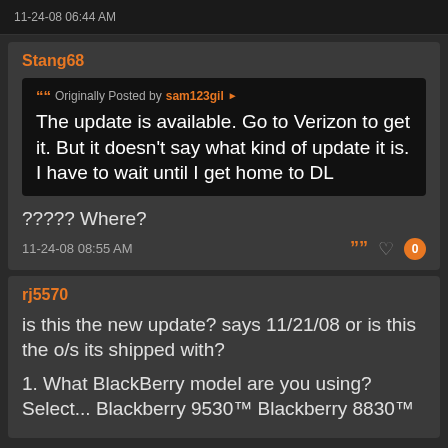11-24-08 06:44 AM
Stang68
Originally Posted by sam123gil
The update is available. Go to Verizon to get it. But it doesn't say what kind of update it is. I have to wait until I get home to DL
????? Where?
11-24-08 08:55 AM
rj5570
is this the new update? says 11/21/08 or is this the o/s its shipped with?
1. What BlackBerry model are you using? Select... Blackberry 9530™ Blackberry 8830™